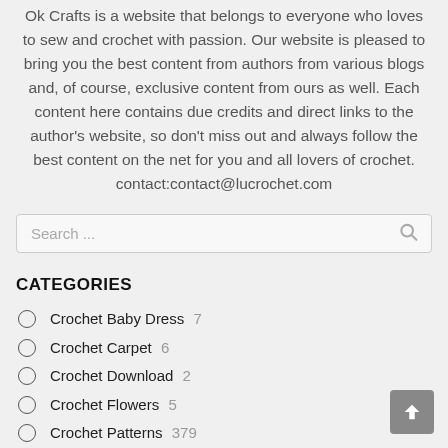Ok Crafts is a website that belongs to everyone who loves to sew and crochet with passion. Our website is pleased to bring you the best content from authors from various blogs and, of course, exclusive content from ours as well. Each content here contains due credits and direct links to the author's website, so don't miss out and always follow the best content on the net for you and all lovers of crochet. contact:contact@lucrochet.com
Search ...
CATEGORIES
Crochet Baby Dress 7
Crochet Carpet 6
Crochet Download 2
Crochet Flowers 5
Crochet Patterns 379
Dress Crochet 7